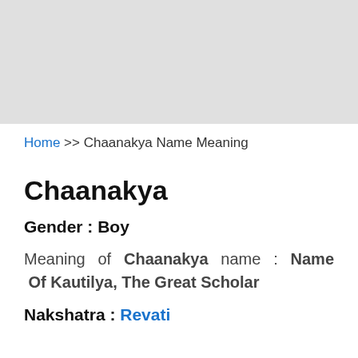[Figure (other): Gray advertisement banner placeholder at the top of the page]
Home >> Chaanakya Name Meaning
Chaanakya
Gender : Boy
Meaning of Chaanakya name : Name Of Kautilya, The Great Scholar
Nakshatra : Revati